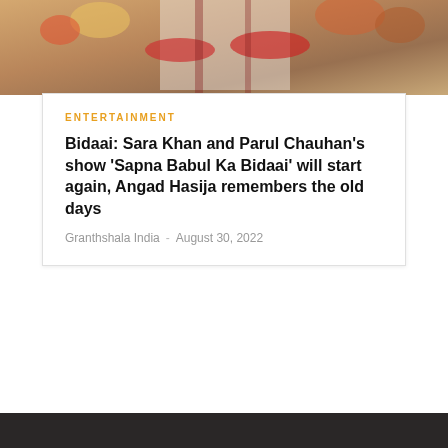[Figure (photo): Top portion of a wedding/festive photo showing people with floral garlands and traditional attire]
ENTERTAINMENT
Bidaai: Sara Khan and Parul Chauhan’s show ‘Sapna Babul Ka Bidaai’ will start again, Angad Hasija remembers the old days
Granthshala India  -  August 30, 2022
Delhi